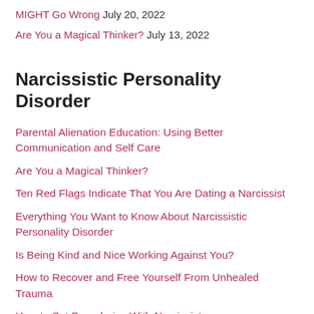MIGHT Go Wrong  July 20, 2022
Are You a Magical Thinker?  July 13, 2022
Narcissistic Personality Disorder
Parental Alienation Education: Using Better Communication and Self Care
Are You a Magical Thinker?
Ten Red Flags Indicate That You Are Dating a Narcissist
Everything You Want to Know About Narcissistic Personality Disorder
Is Being Kind and Nice Working Against You?
How to Recover and Free Yourself From Unhealed Trauma
How to Set Boundaries With Narcissists